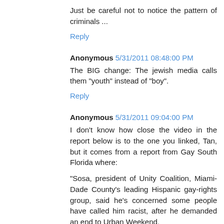Just be careful not to notice the pattern of criminals ...
Reply
Anonymous 5/31/2011 08:48:00 PM
The BIG change: The jewish media calls them "youth" instead of "boy".
Reply
Anonymous 5/31/2011 09:04:00 PM
I don't know how close the video in the report below is to the one you linked, Tan, but it comes from a report from Gay South Florida where:
"Sosa, president of Unity Coalition, Miami-Dade County's leading Hispanic gay-rights group, said he's concerned some people have called him racist, after he demanded an end to Urban Weekend.